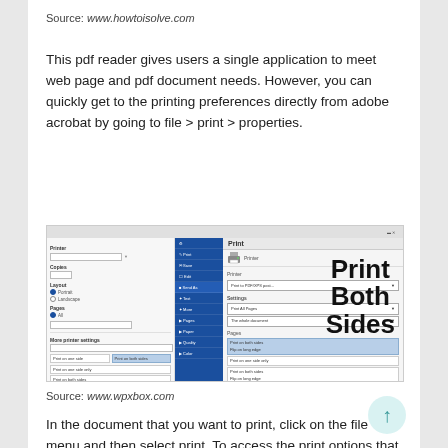Source: www.howtoisolve.com
This pdf reader gives users a single application to meet web page and pdf document needs. However, you can quickly get to the printing preferences directly from adobe acrobat by going to file > print > properties.
[Figure (screenshot): Screenshot of Adobe Acrobat print dialog showing 'Print Both Sides' settings with a blue sidebar and dropdown menus for print options.]
Source: www.wpxbox.com
In the document that you want to print, click on the file menu and then select print. To access the print options that were available in the legacy